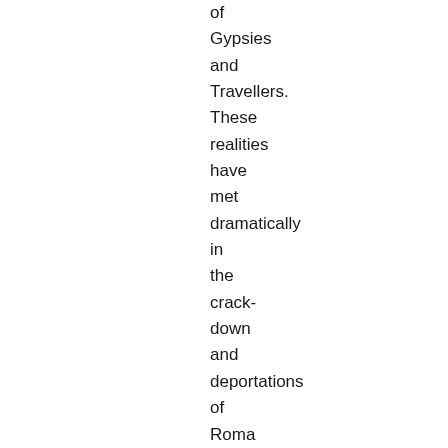of Gypsies and Travellers. These realities have met dramatically in the crack-down and deportations of Roma people from France and Italy. Come to the Workshop organised